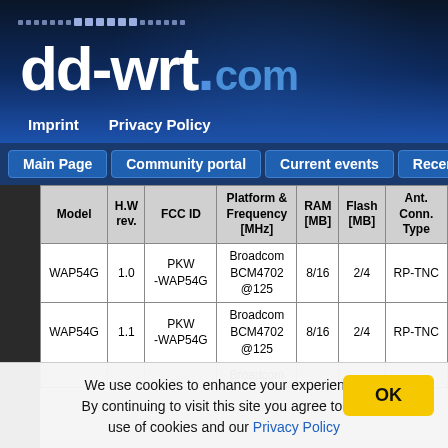[Figure (screenshot): dd-wrt.com website header banner with logo and navigation]
dd-wrt.com
Imprint   Privacy Policy
Main Page | Community portal | Current events | Recent cha...
| Model | H.W rev. | FCC ID | Platform & Frequency [MHz] | RAM [MB] | Flash [MB] | Ant. Conn. Type |
| --- | --- | --- | --- | --- | --- | --- |
| WAP54G | 1.0 | PKW -WAP54G | Broadcom BCM4702 @125 | 8/16 | 2/4 | RP-TNC |
| WAP54G | 1.1 | PKW -WAP54G | Broadcom BCM4702 @125 | 8/16 | 2/4 | RP-TNC |
|  |  | ... | Broadcom |  |  |  |
We use cookies to enhance your experience. By continuing to visit this site you agree to our use of cookies and our Privacy Policy